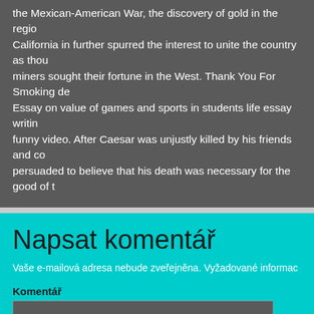the Mexican-American War, the discovery of gold in the region of California in further spurred the interest to unite the country as thousands of miners sought their fortune in the West. Thank You For Smoking de. Essay on value of games and sports in students life essay writing funny video. After Caesar was unjustly killed by his friends and co persuaded to believe that his death was necessary for the good of t
Napsat komentář
Vaše e-mailová adresa nebude zveřejněna. Vyžadované informac
Komentář
Jméno *